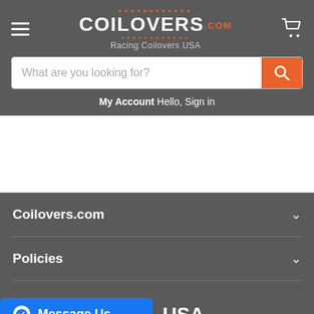[Figure (logo): Coilovers.com logo with orange dots and text 'Racing Coilovers USA']
What are you looking for?
My Account Hello, Sign in
Coilovers.com
Policies
Contact us
Message Us
USA